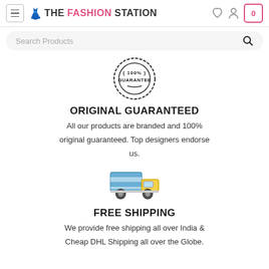THE FASHION STATION
[Figure (screenshot): Search bar with placeholder text 'Search Products' and a search magnifier icon]
[Figure (illustration): 100% Guarantee badge/stamp icon]
ORIGINAL GUARANTEED
All our products are branded and 100% original guaranteed. Top designers endorse us.
[Figure (illustration): Delivery truck icon in blue, green, and yellow]
FREE SHIPPING
We provide free shipping all over India & Cheap DHL Shipping all over the Globe.